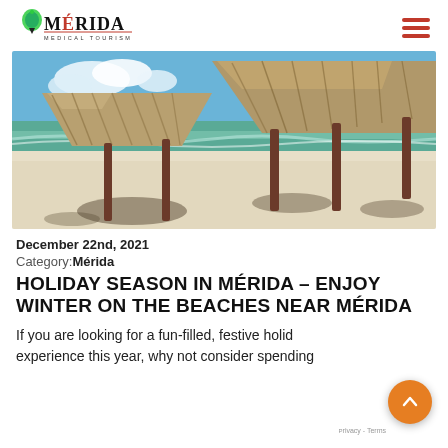[Figure (logo): Mérida Medical Tourism logo with green/black icon and red subtitle text 'MEDICAL TOURISM']
[Figure (photo): Beach scene with thatched palapa umbrellas on white sand, turquoise sea and blue sky in background]
December 22nd, 2021
Category: Mérida
HOLIDAY SEASON IN MÉRIDA – ENJOY WINTER ON THE BEACHES NEAR MÉRIDA
If you are looking for a fun-filled, festive holiday experience this year, why not consider spending